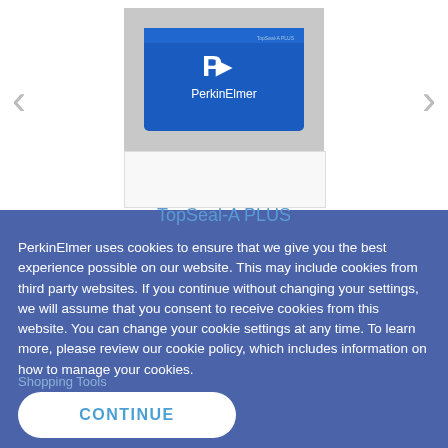[Figure (photo): PerkinElmer branded blue product box (TopSeal-A PLUS) shown in a carousel with left and right navigation arrows. Below the main product photo is a thumbnail strip.]
TopSeal-A PLUS
PerkinElmer uses cookies to ensure that we give you the best experience possible on our website. This may include cookies from third party websites. If you continue without changing your settings, we will assume that you consent to receive cookies from this website. You can change your cookie settings at any time. To learn more, please review our cookie policy, which includes information on how to manage your cookies.
Shopping Tools
CONTINUE
Online Ordering Solutions